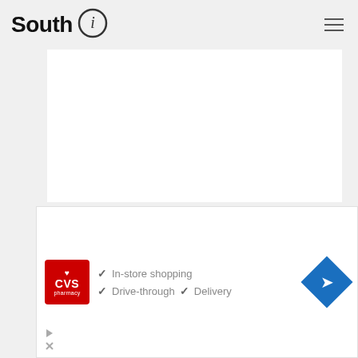South i
[Figure (other): White content area placeholder (image not loaded)]
Cosmetic products stop the aging process. To date, there are no products that can completely rid you of wrinkles.
[Figure (other): CVS Pharmacy advertisement showing: In-store shopping, Drive-through, Delivery options with CVS logo and navigation arrow icon]